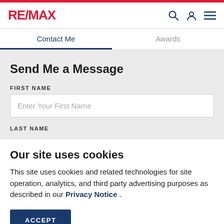RE/MAX
Contact Me
Awards
Send Me a Message
FIRST NAME
Enter Your First Name
LAST NAME
Our site uses cookies
This site uses cookies and related technologies for site operation, analytics, and third party advertising purposes as described in our Privacy Notice .
ACCEPT